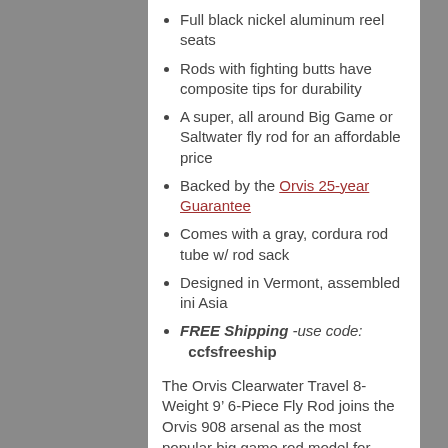Full black nickel aluminum reel seats
Rods with fighting butts have composite tips for durability
A super, all around Big Game or Saltwater fly rod for an affordable price
Backed by the Orvis 25-year Guarantee
Comes with a gray, cordura rod tube w/ rod sack
Designed in Vermont, assembled ini Asia
FREE Shipping -use code: ccfsfreeship
The Orvis Clearwater Travel 8-Weight 9’ 6-Piece Fly Rod joins the Orvis 908 arsenal as the most popular big game rod model for species from big freshwater bass to bonefish, stripers,